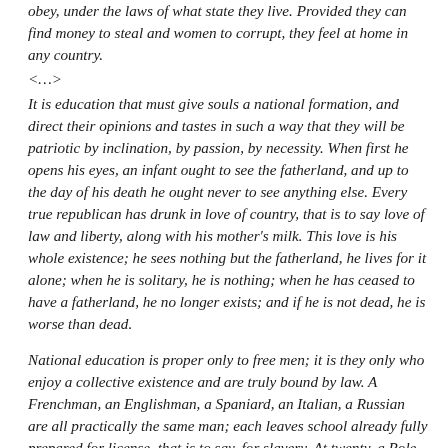obey, under the laws of what state they live. Provided they can find money to steal and women to corrupt, they feel at home in any country.
<…>
It is education that must give souls a national formation, and direct their opinions and tastes in such a way that they will be patriotic by inclination, by passion, by necessity. When first he opens his eyes, an infant ought to see the fatherland, and up to the day of his death he ought never to see anything else. Every true republican has drunk in love of country, that is to say love of law and liberty, along with his mother's milk. This love is his whole existence; he sees nothing but the fatherland, he lives for it alone; when he is solitary, he is nothing; when he has ceased to have a fatherland, he no longer exists; and if he is not dead, he is worse than dead.
National education is proper only to free men; it is they only who enjoy a collective existence and are truly bound by law. A Frenchman, an Englishman, a Spaniard, an Italian, a Russian are all practically the same man; each leaves school already fully prepared for license, that is to say, for slavery. At twenty, a Pole